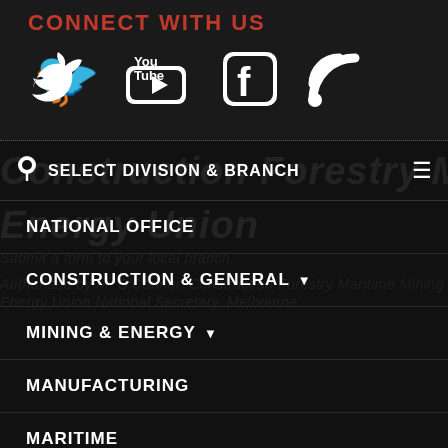CONNECT WITH US
[Figure (illustration): Social media icons: Twitter, YouTube, Facebook, RSS feed]
SELECT DIVISION & BRANCH
NATIONAL OFFICE
CONSTRUCTION & GENERAL
MINING & ENERGY
MANUFACTURING
MARITIME